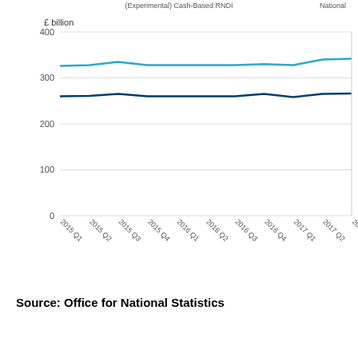[Figure (line-chart): (Experimental) Cash-Based RNDI / National...]
Source: Office for National Statistics